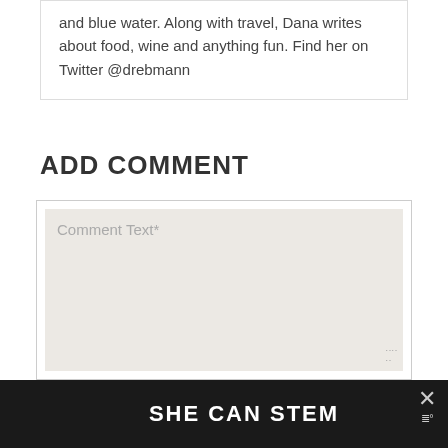and blue water. Along with travel, Dana writes about food, wine and anything fun. Find her on Twitter @drebmann
ADD COMMENT
Comment Text*
[Figure (screenshot): Dark banner with bold white text reading 'SHE CAN STEM' and a close (X) button on the right with small icon below it]